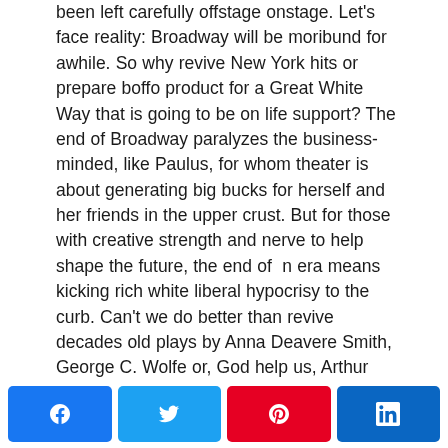been left carefully offstage onstage. Let's face reality: Broadway will be moribund for awhile. So why revive New York hits or prepare boffo product for a Great White Way that is going to be on life support? The end of Broadway paralyzes the business-minded, like Paulus, for whom theater is about generating big bucks for herself and her friends in the upper crust. But for those with creative strength and nerve to help shape the future, the end of n era means kicking rich white liberal hypocrisy to the curb. Can't we do better than revive decades old plays by Anna Deavere Smith, George C. Wolfe or, God help us, Arthur Miller? Theaters should reinvent themselves to speak to a generation that is bent on fighting injustice and inequality — be radical rather than
[Figure (other): Social sharing button bar with four buttons: Facebook (blue), Twitter (light blue), Pinterest (red), LinkedIn (dark blue)]